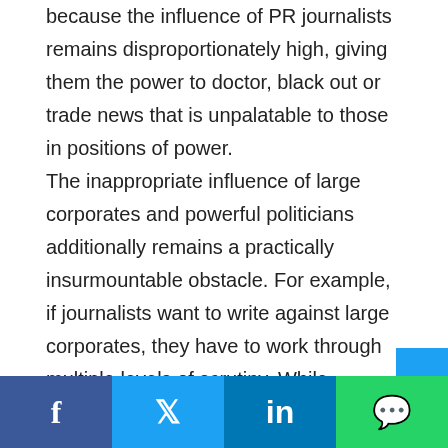because the influence of PR journalists remains disproportionately high, giving them the power to doctor, black out or trade news that is unpalatable to those in positions of power.

The inappropriate influence of large corporates and powerful politicians additionally remains a practically insurmountable obstacle. For example, if journalists want to write against large corporates, they have to work through multiple levels of scrutiny. While scrutiny is welcome at one level, the disproportionate respect and fear offered by media
Facebook | Twitter | LinkedIn | WhatsApp